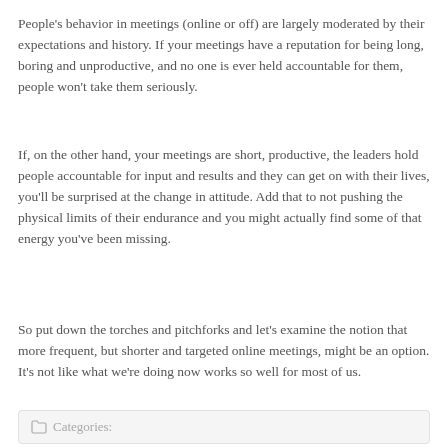People's behavior in meetings (online or off) are largely moderated by their expectations and history. If your meetings have a reputation for being long, boring and unproductive, and no one is ever held accountable for them, people won't take them seriously.
If, on the other hand, your meetings are short, productive, the leaders hold people accountable for input and results and they can get on with their lives, you'll be surprised at the change in attitude. Add that to not pushing the physical limits of their endurance and you might actually find some of that energy you've been missing.
So put down the torches and pitchforks and let's examine the notion that more frequent, but shorter and targeted online meetings, might be an option. It's not like what we're doing now works so well for most of us.
Categories: